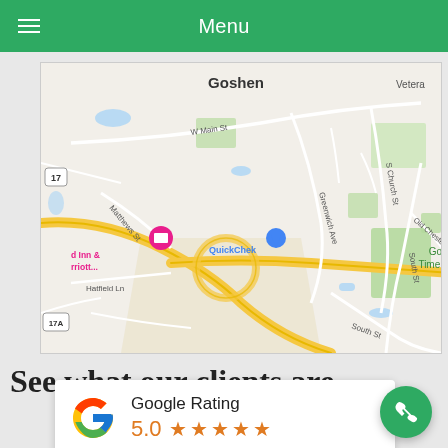Menu
[Figure (map): Google Maps screenshot showing Goshen area with roads including W Main St, Greenwich Ave, S Church St, Old Chester Rd, Matthews St, South St, Hatfield Ln. Shows landmarks: Good Time Park, QuickChek, d Inn & rriott..., route markers 17 and 17A. Major yellow highway routes visible.]
See what our clients are
[Figure (infographic): Google Rating card showing 5.0 rating with 5 orange stars and Google G logo]
[Figure (other): Green circular phone/call FAB button in bottom right corner]